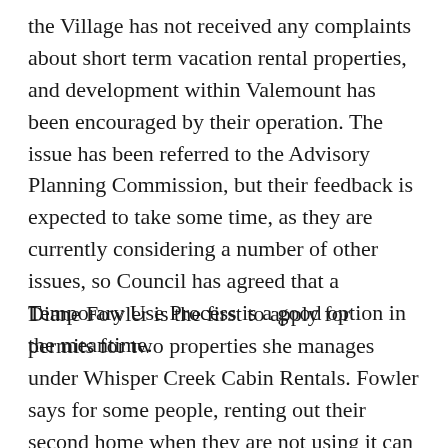the Village has not received any complaints about short term vacation rental properties, and development within Valemount has been encouraged by their operation. The issue has been referred to the Advisory Planning Commission, but their feedback is expected to take some time, as they are currently considering a number of other issues, so Council has agreed that a Temporary Use Process is a good option in the meantime.
Diane Fowler is the first to apply for permits for two properties she manages under Whisper Creek Cabin Rentals. Fowler says for some people, renting out their second home when they are not using it can be a great way to help pay for the investment, and that is not only good for the owners, but for the community as well. Her husband Shawn Fowler of Whisper Creek Log Homes